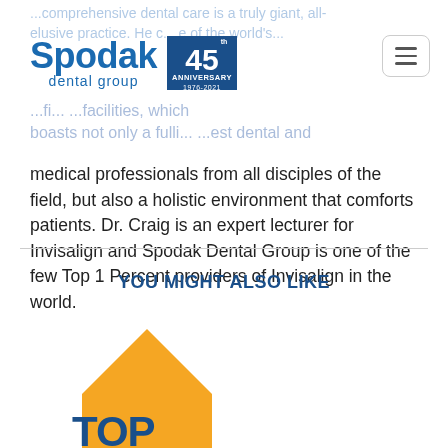[Figure (logo): Spodak Dental Group logo with 45th Anniversary badge (1976-2021) and hamburger menu button]
medical professionals from all disciples of the field, but also a holistic environment that comforts patients. Dr. Craig is an expert lecturer for Invisalign and Spodak Dental Group is one of the few Top 1 Percent providers of Invisalign in the world.
YOU MIGHT ALSO LIKE
[Figure (illustration): Partial yellow house-shaped graphic with 'TOP' text in blue at the bottom, partially cropped]